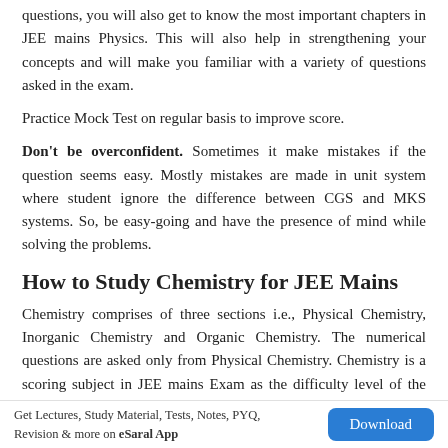questions, you will also get to know the most important chapters in JEE mains Physics. This will also help in strengthening your concepts and will make you familiar with a variety of questions asked in the exam.
Practice Mock Test on regular basis to improve score.
Don't be overconfident. Sometimes it make mistakes if the question seems easy. Mostly mistakes are made in unit system where student ignore the difference between CGS and MKS systems. So, be easy-going and have the presence of mind while solving the problems.
How to Study Chemistry for JEE Mains
Chemistry comprises of three sections i.e., Physical Chemistry, Inorganic Chemistry and Organic Chemistry. The numerical questions are asked only from Physical Chemistry. Chemistry is a scoring subject in JEE mains Exam as the difficulty level of the questions in Chemistry is easier than the other two subjects i.e., Physics and Mathematics. That’s why, Chemistry is the easiest part of the JEE Main Examination for many
Get Lectures, Study Material, Tests, Notes, PYQ, Revision & more on eSaral App   Download